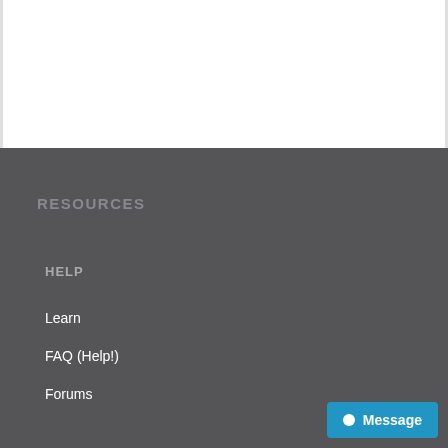RESOURCES
HELP
Learn
FAQ (Help!)
Forums
Message